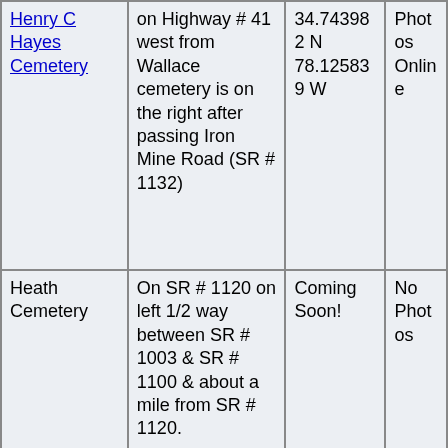| Cemetery Name | Directions | Coordinates | Photos |
| --- | --- | --- | --- |
| Henry C Hayes Cemetery | on Highway # 41 west from Wallace cemetery is on the right after passing Iron Mine Road (SR # 1132) | 34.743982 N 78.125839 W | Photos Online |
| Heath Cemetery | On SR # 1120 on left 1/2 way between SR # 1003 & SR # 1100 & about a mile from SR # 1120. | Coming Soon! | No Photos |
| Hebron Presbyterian Church Cemetery | from Pink Hill on Highway # 11 about 2-3 miles turn right on Maxwell Mill road (SR # 1554) 1/10 mile turn right on Burncoat Road (SR # 1551) church is on the left | 35.06228 N 77.78199 W | Photos Online |
|  |  |  |  |